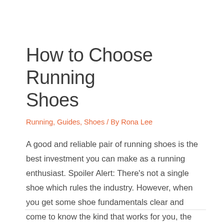How to Choose Running Shoes
Running, Guides, Shoes / By Rona Lee
A good and reliable pair of running shoes is the best investment you can make as a running enthusiast. Spoiler Alert: There’s not a single shoe which rules the industry. However, when you get some shoe fundamentals clear and come to know the kind that works for you, the selection process becomes a cakewalk.